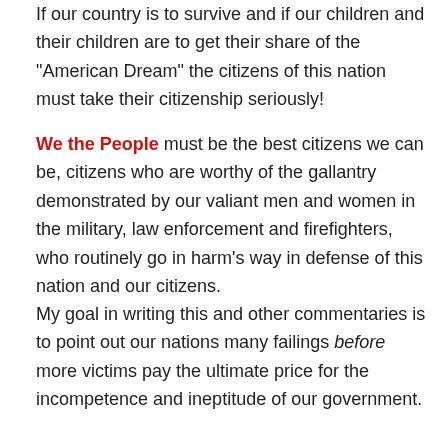If our country is to survive and if our children and their children are to get their share of the "American Dream" the citizens of this nation must take their citizenship seriously!
We the People must be the best citizens we can be, citizens who are worthy of the gallantry demonstrated by our valiant men and women in the military, law enforcement and firefighters, who routinely go in harm's way in defense of this nation and our citizens.
My goal in writing this and other commentaries is to point out our nations many failings before more victims pay the ultimate price for the incompetence and ineptitude of our government.